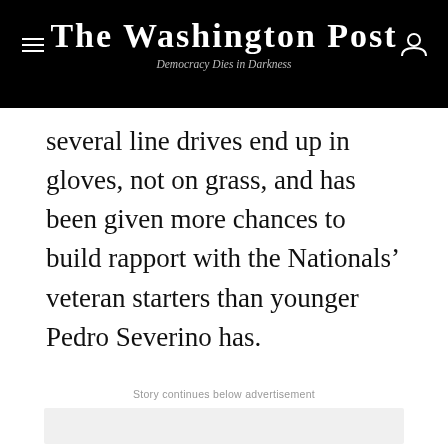The Washington Post
Democracy Dies in Darkness
several line drives end up in gloves, not on grass, and has been given more chances to build rapport with the Nationals’ veteran starters than younger Pedro Severino has.
Story continues below advertisement